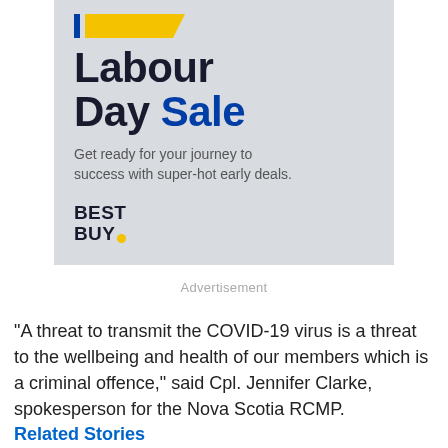[Figure (illustration): Best Buy Canada Labour Day Sale advertisement on a light grey background with blue and yellow stripe logo, bold headline 'Labour Day Day Sale' with 'Sale' in blue, subtitle text 'Get ready for your journey to success with super-hot early deals.' and Best Buy logo with yellow dot.]
Advertisement
"A threat to transmit the COVID-19 virus is a threat to the wellbeing and health of our members which is a criminal offence," said Cpl. Jennifer Clarke, spokesperson for the Nova Scotia RCMP.
Related Stories